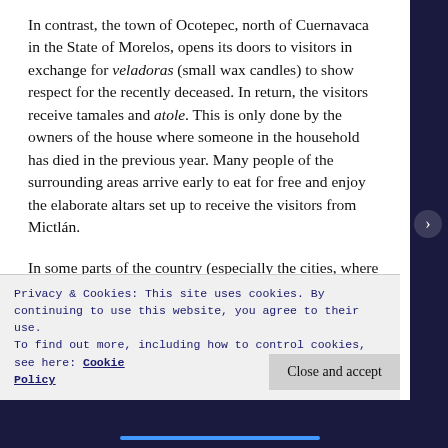In contrast, the town of Ocotepec, north of Cuernavaca in the State of Morelos, opens its doors to visitors in exchange for veladoras (small wax candles) to show respect for the recently deceased. In return, the visitors receive tamales and atole. This is only done by the owners of the house where someone in the household has died in the previous year. Many people of the surrounding areas arrive early to eat for free and enjoy the elaborate altars set up to receive the visitors from Mictlán.
In some parts of the country (especially the cities, where in recent years other customs have been
Privacy & Cookies: This site uses cookies. By continuing to use this website, you agree to their use.
To find out more, including how to control cookies, see here: Cookie Policy